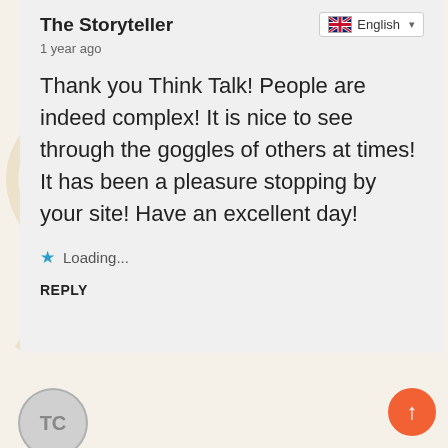The Storyteller
1 year ago
Thank you Think Talk! People are indeed complex! It is nice to see through the goggles of others at times! It has been a pleasure stopping by your site! Have an excellent day!
Loading...
REPLY